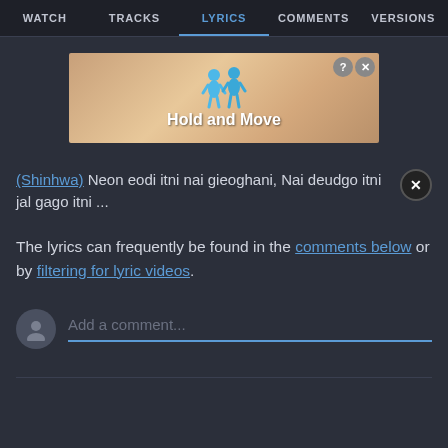WATCH | TRACKS | LYRICS | COMMENTS | VERSIONS
[Figure (screenshot): Ad banner for 'Hold and Move' mobile game showing two blue cartoon figures on a wooden staircase background]
__(Shinhwa) Neon eodi itni nai gieoghani, Nai deudgo itni jal gago itni ...
The lyrics can frequently be found in the comments below or by filtering for lyric videos.
Add a comment...